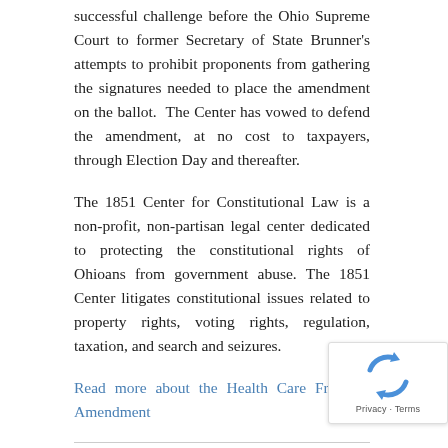successful challenge before the Ohio Supreme Court to former Secretary of State Brunner's attempts to prohibit proponents from gathering the signatures needed to place the amendment on the ballot. The Center has vowed to defend the amendment, at no cost to taxpayers, through Election Day and thereafter.
The 1851 Center for Constitutional Law is a non-profit, non-partisan legal center dedicated to protecting the constitutional rights of Ohioans from government abuse. The 1851 Center litigates constitutional issues related to property rights, voting rights, regulation, taxation, and search and seizures.
Read more about the Health Care Freedom Amendment
Media